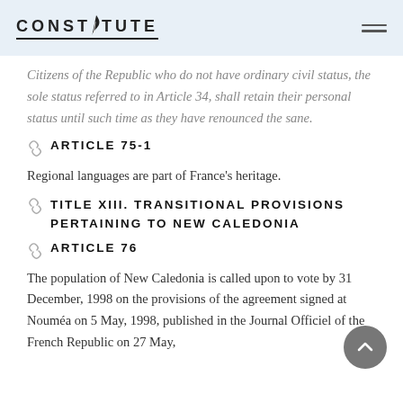CONSTITUTE
Citizens of the Republic who do not have ordinary civil status, the sole status referred to in Article 34, shall retain their personal status until such time as they have renounced the sane.
ARTICLE 75-1
Regional languages are part of France's heritage.
TITLE XIII. TRANSITIONAL PROVISIONS PERTAINING TO NEW CALEDONIA
ARTICLE 76
The population of New Caledonia is called upon to vote by 31 December, 1998 on the provisions of the agreement signed at Nouméa on 5 May, 1998, published in the Journal Officiel of the French Republic on 27 May,